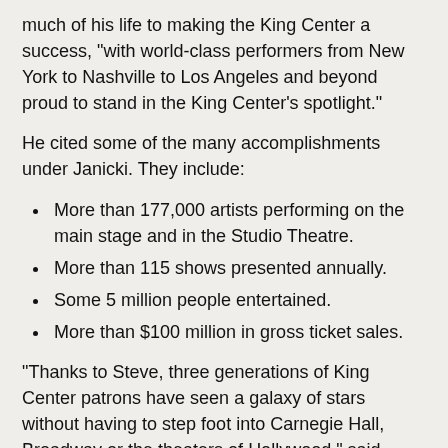much of his life to making the King Center a success, "with world-class performers from New York to Nashville to Los Angeles and beyond proud to stand in the King Center's spotlight."
He cited some of the many accomplishments under Janicki. They include:
More than 177,000 artists performing on the main stage and in the Studio Theatre.
More than 115 shows presented annually.
Some 5 million people entertained.
More than $100 million in gross ticket sales.
"Thanks to Steve, three generations of King Center patrons have seen a galaxy of stars without having to step foot into Carnegie Hall, Broadway or the theaters of Hollywood," said Richey.
He went on to praise Janicki's "dedication, professionalism and passionate belief in the importance of the arts to nourish the soul."
"Steve is a real class act whom we can never thank enough for the